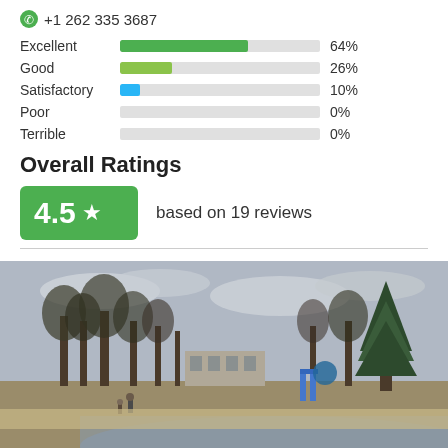+1 262 335 3687
[Figure (bar-chart): Rating distribution]
Overall Ratings
4.5 ★  based on 19 reviews
[Figure (photo): Park scene with trees, a pond, playground equipment, and a few people in the distance on a cloudy spring day.]